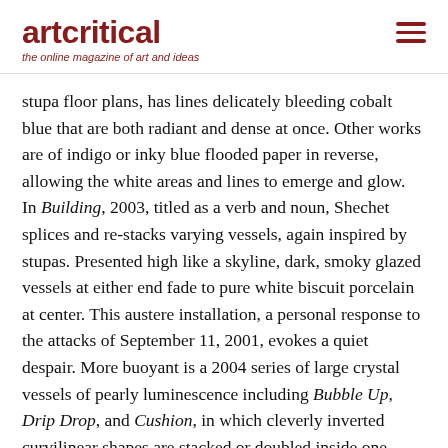artcritical — the online magazine of art and ideas
stupa floor plans, has lines delicately bleeding cobalt blue that are both radiant and dense at once. Other works are of indigo or inky blue flooded paper in reverse, allowing the white areas and lines to emerge and glow.
In Building, 2003, titled as a verb and noun, Shechet splices and re-stacks varying vessels, again inspired by stupas. Presented high like a skyline, dark, smoky glazed vessels at either end fade to pure white biscuit porcelain at center. This austere installation, a personal response to the attacks of September 11, 2001, evokes a quiet despair. More buoyant is a 2004 series of large crystal vessels of pearly luminescence including Bubble Up, Drip Drop, and Cushion, in which cleverly inverted curvilinear shapes are stacked or doubled inside one another to a point of